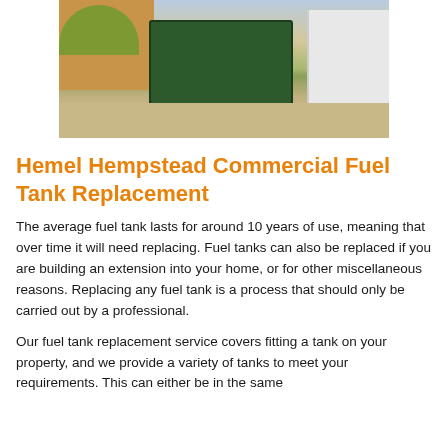[Figure (photo): A large green rectangular commercial fuel tank on a gravel driveway in front of a brick house with foliage, with a white van visible to the right.]
Hemel Hempstead Commercial Fuel Tank Replacement
The average fuel tank lasts for around 10 years of use, meaning that over time it will need replacing. Fuel tanks can also be replaced if you are building an extension into your home, or for other miscellaneous reasons. Replacing any fuel tank is a process that should only be carried out by a professional.
Our fuel tank replacement service covers fitting a tank on your property, and we provide a variety of tanks to meet your requirements. This can either be in the same